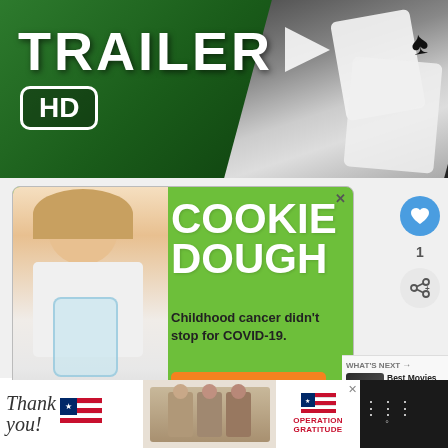[Figure (screenshot): Trailer HD banner with playing card imagery on dark green/black background]
[Figure (screenshot): Cookie Dough fundraiser ad for Cookies for Kids' Cancer charity. Green background with smiling girl holding jar of money. Text: COOKIE DOUGH, Childhood cancer didn't stop for COVID-19. LETS GET BAKING! cookies for kids' cancer]
[Figure (screenshot): Bottom advertisement bar: Thank you with American flag imagery, people with packages, Operation Gratitude logo]